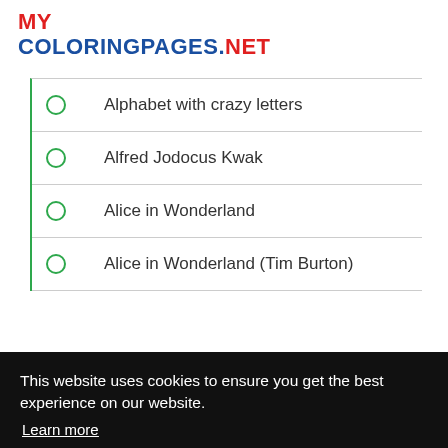MY COLORINGPAGES.NET
Alphabet with crazy letters
Alfred Jodocus Kwak
Alice in Wonderland
Alice in Wonderland (Tim Burton)
This website uses cookies to ensure you get the best experience on our website.
Learn more
Got it!